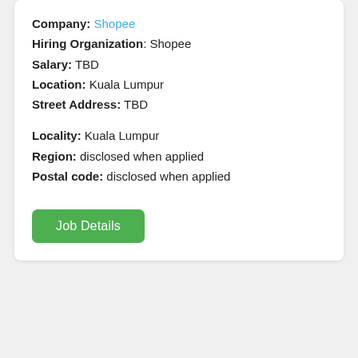Company: Shopee
Hiring Organization: Shopee
Salary: TBD
Location: Kuala Lumpur
Street Address: TBD
Locality: Kuala Lumpur
Region: disclosed when applied
Postal code: disclosed when applied
Job Details